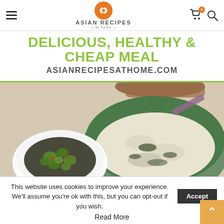ASIAN RECIPES at home
DELICIOUS, HEALTHY & CHEAP MEAL
ASIANRECIPESATHOME.COM
[Figure (photo): A green ceramic bowl filled with rice and seaweed, with chopsticks resting on top; beside it a small white bowl of green vegetables in sauce on a white background.]
This website uses cookies to improve your experience. We'll assume you're ok with this, but you can opt-out if you wish.
Accept
Read More